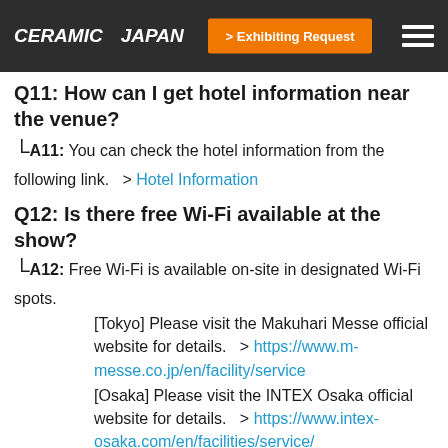CERAMIC JAPAN | > Exhibiting Request
Q11: How can I get hotel information near the venue?
A11: You can check the hotel information from the following link.    > Hotel Information
Q12: Is there free Wi-Fi available at the show?
A12: Free Wi-Fi is available on-site in designated Wi-Fi spots.
[Tokyo] Please visit the Makuhari Messe official website for details.    > https://www.m-messe.co.jp/en/facility/service
[Osaka] Please visit the INTEX Osaka official website for details.    > https://www.intex-osaka.com/en/facilities/service/